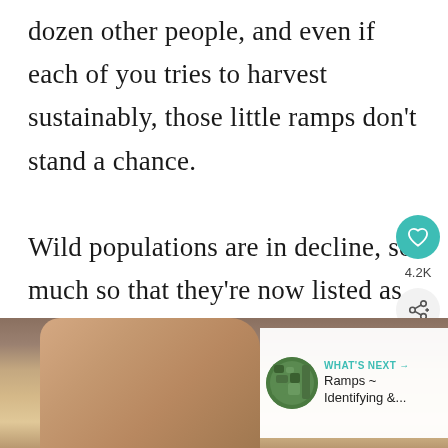dozen other people, and even if each of you tries to harvest sustainably, those little ramps don't stand a chance.

Wild populations are in decline, so much so that they're now listed as threatened in many states. The good news is, they're actually pretty easy to grow at home.
[Figure (photo): A hand holding what appears to be a wooden object, photographed from below, with a 'What's Next' content recommendation overlay showing 'Ramps - Identifying &...' with a circular thumbnail of green plants]